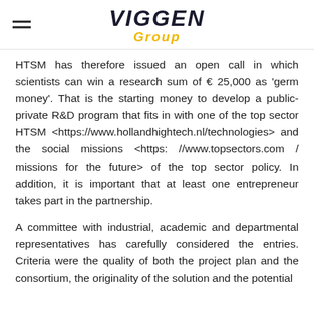[Figure (logo): Viggen Group logo with hamburger menu icon on the left. Logo shows 'VIGGEN' in bold italic dark letters with 'Group' in italic yellow/gold below.]
HTSM has therefore issued an open call in which scientists can win a research sum of € 25,000 as 'germ money'. That is the starting money to develop a public-private R&D program that fits in with one of the top sector HTSM <https://www.hollandhightech.nl/technologies> and the social missions <https: //www.topsectors.com / missions for the future> of the top sector policy. In addition, it is important that at least one entrepreneur takes part in the partnership.
A committee with industrial, academic and departmental representatives has carefully considered the entries. Criteria were the quality of both the project plan and the consortium, the originality of the solution and the potential